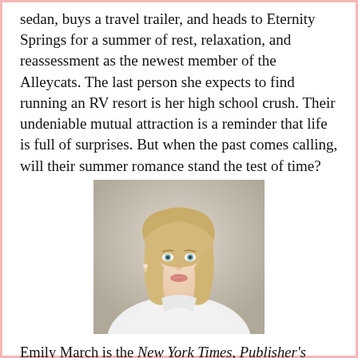sedan, buys a travel trailer, and heads to Eternity Springs for a summer of rest, relaxation, and reassessment as the newest member of the Alleycats. The last person she expects to find running an RV resort is her high school crush. Their undeniable mutual attraction is a reminder that life is full of surprises. But when the past comes calling, will their summer romance stand the test of time?
[Figure (photo): Professional headshot photo of Emily March, a blonde woman in a white shirt, against a neutral grey background.]
Emily March is the New York Times, Publisher's Weekly, and USA Today bestselling author of over